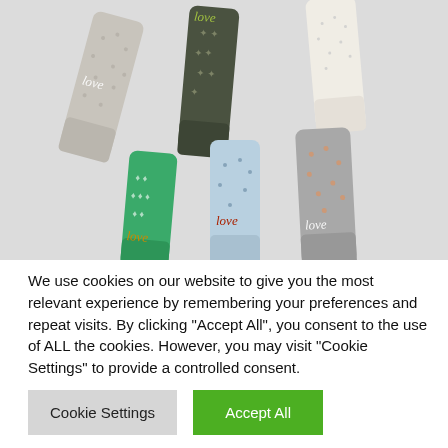[Figure (photo): Six colorful socks arranged on a light grey background. Top row: a grey patterned sock with 'love' script, a dark olive/green sock with star patterns, and a cream/white dotted sock. Bottom row: a teal/green patterned sock with 'love' script, a light blue dotted sock with 'love' script, and a grey floral sock with 'love' script.]
We use cookies on our website to give you the most relevant experience by remembering your preferences and repeat visits. By clicking "Accept All", you consent to the use of ALL the cookies. However, you may visit "Cookie Settings" to provide a controlled consent.